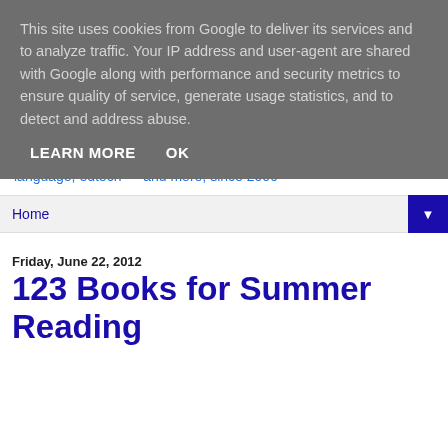This site uses cookies from Google to deliver its services and to analyze traffic. Your IP address and user-agent are shared with Google along with performance and security metrics to ensure quality of service, generate usage statistics, and to detect and address abuse.
LEARN MORE   OK
language, edtech — and more, since 2006
Home ▼
Friday, June 22, 2012
123 Books for Summer Reading